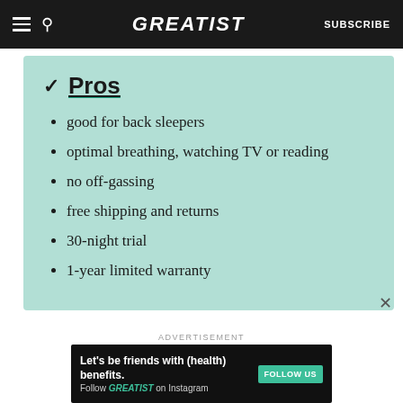GREATIST | SUBSCRIBE
✓ Pros
good for back sleepers
optimal breathing, watching TV or reading
no off-gassing
free shipping and returns
30-night trial
1-year limited warranty
ADVERTISEMENT
Let's be friends with (health) benefits. Follow GREATIST on Instagram FOLLOW US